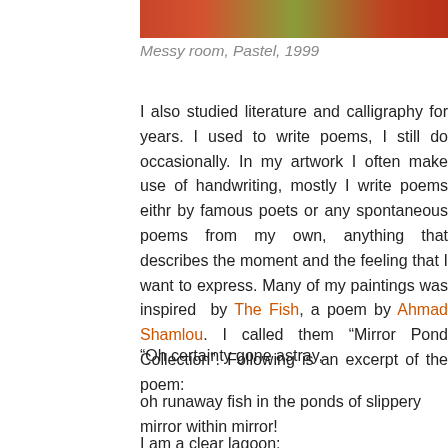[Figure (photo): Top portion of a colorful painting, cropped — reds, oranges, and greens visible]
Messy room, Pastel, 1999
I also studied literature and calligraphy for years. I used to write poems, I still do occasionally. In my artwork I often make use of handwriting, mostly I write poems eithr by famous poets or any spontaneous poems from my own, anything that describes the moment and the feeling that I want to express. Many of my paintings was inspired  by The Fish, a poem by Ahmad Shamlou. I called them “Mirror Pond Collection”. Following is an excerpt of the poem:
“Oh certainty gone astray,
oh runaway fish in the ponds of slippery mirror within mirror!
I am a clear lagoon;